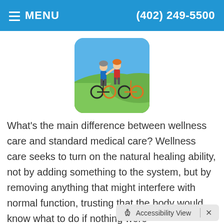MENU  (402) 249-5500
[Figure (photo): Two people with mountain bikes standing on a hillside with blue sky background]
What's the main difference between wellness care and standard medical care? Wellness care seeks to turn on the natural healing ability, not by adding something to the system, but by removing anything that might interfere with normal function, trusting that the body would know what to do if nothing were
Read more